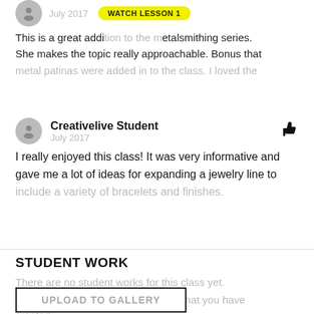This is a great addi[tion to the] [m]etalsmithing series. She makes the topic really approachable. Bonus that metal patinas were added in to the class. I loved the
Creativelive Student
July 2017
I really enjoyed this class! It was very informative and gave me a lot of ideas for expanding a jewelry line to include a variety of bracelets and finishes.
STUDENT WORK
There are no student works for this class yet.
Be the first to show other students what you have created.
UPLOAD TO GALLERY